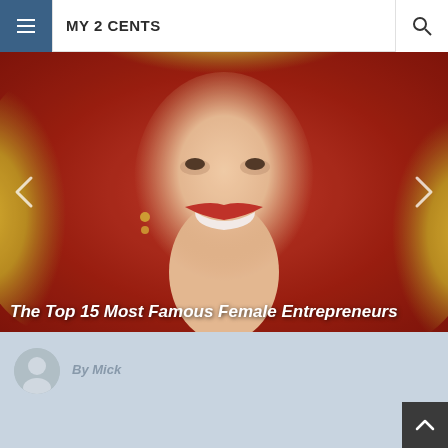MY 2 CENTS
[Figure (photo): Smiling blonde woman with curly hair against a red background, used as hero image for article about female entrepreneurs]
The Top 15 Most Famous Female Entrepreneurs
By Mick